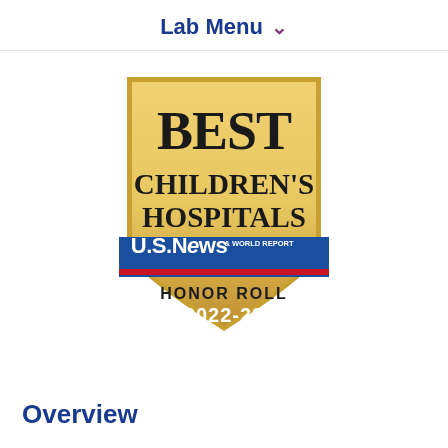Lab Menu
[Figure (logo): U.S. News & World Report Best Children's Hospitals Honor Roll 2022-23 badge — shield-shaped gold badge with dark text reading BEST CHILDREN'S HOSPITALS, a blue banner with U.S.News & World Report logo, a red stripe, and text HONOR ROLL 2022-23]
Overview